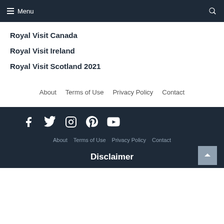Menu
Royal Visit Canada
Royal Visit Ireland
Royal Visit Scotland 2021
About   Terms of Use   Privacy Policy   Contact
[Figure (infographic): Social media icons: Facebook, Twitter, Instagram, Pinterest, YouTube]
About  Terms of Use  Privacy Policy  Contact
Disclaimer